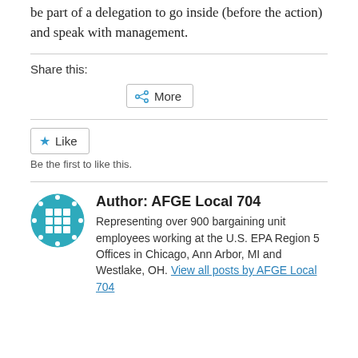be part of a delegation to go inside (before the action) and speak with management.
Share this:
[Figure (other): More share button with share icon]
[Figure (other): Like button with star icon]
Be the first to like this.
[Figure (logo): AFGE Local 704 circular logo with grid pattern in teal/blue]
Author: AFGE Local 704
Representing over 900 bargaining unit employees working at the U.S. EPA Region 5 Offices in Chicago, Ann Arbor, MI and Westlake, OH. View all posts by AFGE Local 704